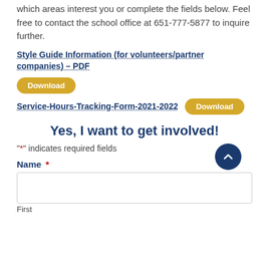which areas interest you or complete the fields below. Feel free to contact the school office at 651-777-5877 to inquire further.
Style Guide Information (for volunteers/partner companies) – PDF  Download
Service-Hours-Tracking-Form-2021-2022  Download
Yes, I want to get involved!
"*" indicates required fields
Name *
First